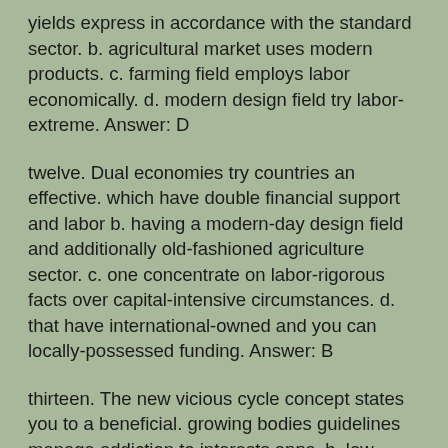yields express in accordance with the standard sector. b. agricultural market uses modern products. c. farming field employs labor economically. d. modern design field try labor-extreme. Answer: D
twelve. Dual economies try countries an effective. which have double financial support and labor b. having a modern-day design field and additionally old-fashioned agriculture sector. c. one concentrate on labor-rigorous facts over capital-intensive circumstances. d. that have international-owned and you can locally-possessed funding. Answer: B
thirteen. The new vicious cycle concept states you to a beneficial. growing bodies guidelines manage addiction to interests apps. b. low income levels https://datingranking.net/nl/chat-zozo-overzicht/ carry out pressure for cash development. c. low income account manage stress for less imports. d. low for each and even capita earnings produces reduced deals you...